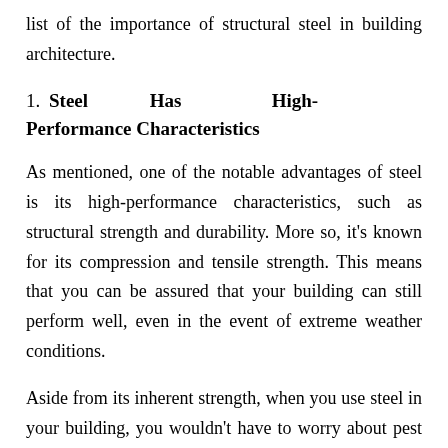list of the importance of structural steel in building architecture.
1. Steel Has High-Performance Characteristics
As mentioned, one of the notable advantages of steel is its high-performance characteristics, such as structural strength and durability. More so, it's known for its compression and tensile strength. This means that you can be assured that your building can still perform well, even in the event of extreme weather conditions.
Aside from its inherent strength, when you use steel in your building, you wouldn't have to worry about pest infestations compared to other materials and